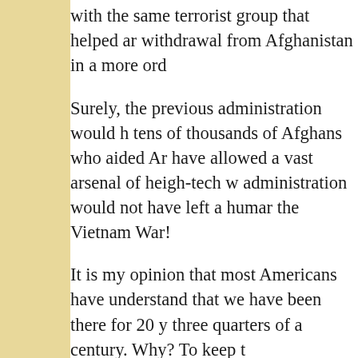with the same terrorist group that helped ar withdrawal from Afghanistan in a more ord
Surely, the previous administration would h tens of thousands of Afghans who aided Ar have allowed a vast arsenal of heigh-tech w administration would not have left a humar the Vietnam War!
It is my opinion that most Americans have understand that we have been there for 20 y three quarters of a century. Why? To keep t
It takes generations to change the hearts an than to introduce freedom and liberty in a p defend at all costs.  It also requires protecti knows that better than the United States.
I watched President Bush's speech to Amer the mission was to rid the country of terrori Now, we are witnessing our politicians turn